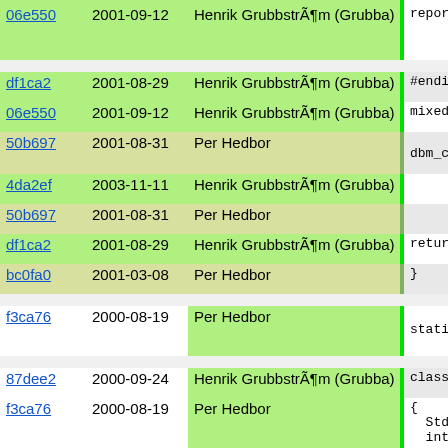| hash | date | author | code |
| --- | --- | --- | --- |
| 06e550 | 2001-09-12 | Henrik GrubbstrÃ¶m (Grubba) | report_d |
| df1ca2 | 2001-08-29 | Henrik GrubbstrÃ¶m (Grubba) | #endif /* |
| 06e550 | 2001-09-12 | Henrik GrubbstrÃ¶m (Grubba) | mixed re |
| 50b697 | 2001-08-31 | Per Hedbor | dbm_cach |
| 4da2ef | 2003-11-11 | Henrik GrubbstrÃ¶m (Grubba) | ->quer |
| 50b697 | 2001-08-31 | Per Hedbor |  |
| df1ca2 | 2001-08-29 | Henrik GrubbstrÃ¶m (Grubba) | return c |
| bc0fa0 | 2001-03-08 | Per Hedbor | } |
| f3ca76 | 2000-08-19 | Per Hedbor | static str |
| 87dee2 | 2000-09-24 | Henrik GrubbstrÃ¶m (Grubba) | class LogF |
| f3ca76 | 2000-08-19 | Per Hedbor | {
  Stdio.Fi
  int open |
| 87dee2 | 2000-09-24 | Henrik GrubbstrÃ¶m (Grubba) |  |